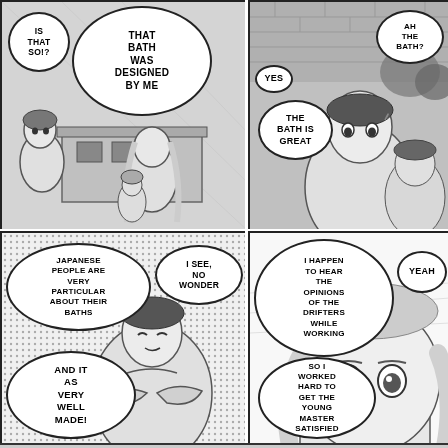[Figure (illustration): Manga panel top-left: Male character standing outdoors near a building. Two speech bubbles: 'IS THAT SO!?' and 'THAT BATH WAS DESIGNED BY ME']
[Figure (illustration): Manga panel top-right: Female character with another character. Speech bubbles: 'AH THE BATH?', 'YES', 'THE BATH IS GREAT']
[Figure (illustration): Manga panel bottom-left: Male character with arms crossed. Halftone dot background. Speech bubbles: 'JAPANESE PEOPLE ARE VERY PARTICULAR ABOUT THEIR BATHS', 'I SEE, NO WONDER', 'AND IT AS VERY WELL MADE!']
[Figure (illustration): Manga panel bottom-right: Female character with long hair. Speech bubbles: 'I HAPPEN TO HEAR THE OPINIONS OF THE DRIFTERS WHILE WORKING', 'SO I WORKED HARD TO GET THE YOUNG MASTER SATISFIED', 'YEAH']